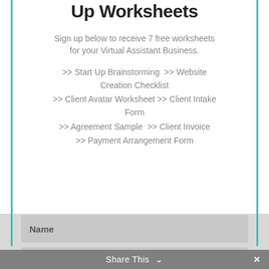Up Worksheets
Sign up below to receive 7 free worksheets for your Virtual Assistant Business.
>> Start Up Brainstorming  >> Website Creation Checklist
>> Client Avatar Worksheet >> Client Intake Form
>> Agreement Sample  >> Client Invoice
>> Payment Arrangement Form
Name
Email
Sign Up!
Share This